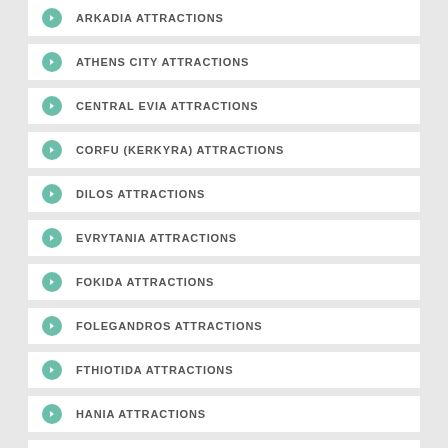ARKADIA ATTRACTIONS
ATHENS CITY ATTRACTIONS
CENTRAL EVIA ATTRACTIONS
CORFU (KERKYRA) ATTRACTIONS
DILOS ATTRACTIONS
EVRYTANIA ATTRACTIONS
FOKIDA ATTRACTIONS
FOLEGANDROS ATTRACTIONS
FTHIOTIDA ATTRACTIONS
HANIA ATTRACTIONS
HERAKLION ATTRACTIONS